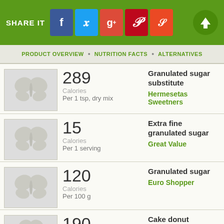SHARE IT | PRODUCT OVERVIEW • NUTRITION FACTS • ALTERNATIVES
289 Calories Per 1 tsp, dry mix | Granulated sugar substitute | Hermesetas Sweetners
15 Calories Per 1 serving | Extra fine granulated sugar | Great Value
120 Calories Per 100 g | Granulated sugar | Euro Shopper
190 Calories | Cake donut (w/granulated sugar)